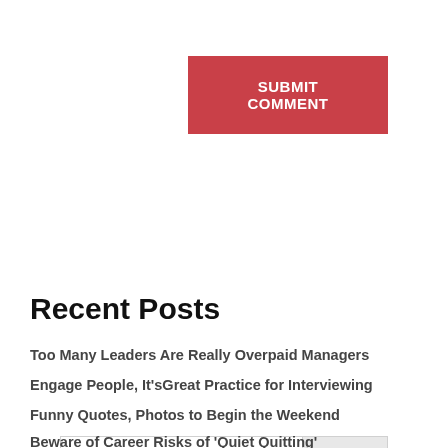[Figure (other): Red 'SUBMIT COMMENT' button in top right area]
[Figure (screenshot): Search bar with text input and Search button]
Recent Posts
Too Many Leaders Are Really Overpaid Managers
Engage People, It'sGreat Practice for Interviewing
Funny Quotes, Photos to Begin the Weekend
Beware of Career Risks of 'Quiet Quitting'